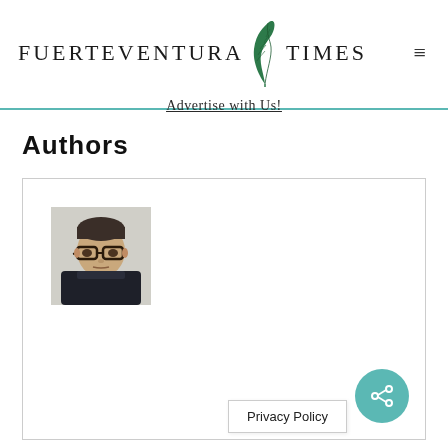FUERTEVENTURA TIMES
Advertise with Us!
Authors
[Figure (photo): Author portrait photo: person with short hair and glasses wearing a dark turtleneck sweater]
Privacy Policy